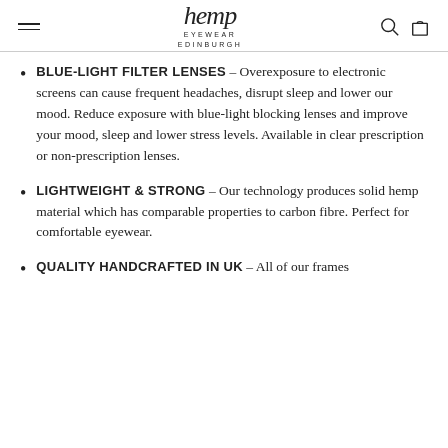hemp EYEWEAR EDINBURGH
BLUE-LIGHT FILTER LENSES – Overexposure to electronic screens can cause frequent headaches, disrupt sleep and lower our mood. Reduce exposure with blue-light blocking lenses and improve your mood, sleep and lower stress levels. Available in clear prescription or non-prescription lenses.
LIGHTWEIGHT & STRONG – Our technology produces solid hemp material which has comparable properties to carbon fibre. Perfect for comfortable eyewear.
QUALITY HANDCRAFTED IN UK – All of our frames